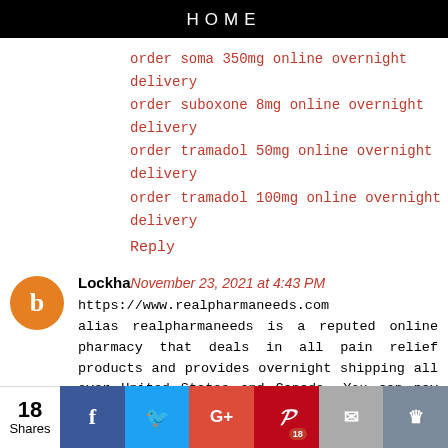HOME
order soma 350mg online overnight delivery
order suboxone 8mg online overnight delivery
order tramadol 50mg online overnight delivery
order tramadol 100mg online overnight delivery
Reply
Lockha November 23, 2021 at 4:43 PM
https://www.realpharmaneeds.com alias realpharmaneeds is a reputed online pharmacy that deals in all pain relief products and provides overnight shipping all over United States and Canada. You can pay by credit/debit card, Paypal or COD, call or text +1 8584617138 or write to us at realpharmaneeds@gmail.com
order yellow xanax bar online overnight delivery
order xanax 2mg online overnight delivery
order vyvanse 20mg online overnight delivery
order vicodin es 7.5/750mg online overnight
18 Shares | Facebook | Twitter | G+ | Pinterest 18 | Email | Crown